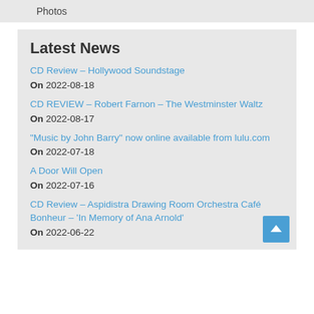Photos
Latest News
CD Review – Hollywood Soundstage
On 2022-08-18
CD REVIEW – Robert Farnon – The Westminster Waltz
On 2022-08-17
"Music by John Barry" now online available from lulu.com
On 2022-07-18
A Door Will Open
On 2022-07-16
CD Review – Aspidistra Drawing Room Orchestra Café Bonheur – 'In Memory of Ana Arnold'
On 2022-06-22